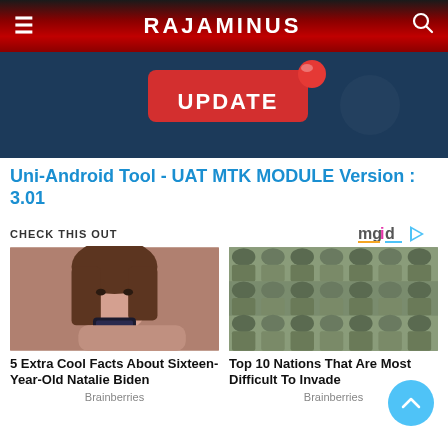RAJAMINUS
[Figure (screenshot): Hero banner with dark blue background showing UPDATE text with a red notification badge icon]
Uni-Android Tool - UAT MTK MODULE Version : 3.01
CHECK THIS OUT
[Figure (logo): mgid logo with play button icon]
[Figure (photo): Young woman taking a selfie in mirror holding a phone]
5 Extra Cool Facts About Sixteen-Year-Old Natalie Biden
Brainberries
[Figure (photo): Rows of soldiers in camouflage uniforms and berets at a military parade]
Top 10 Nations That Are Most Difficult To Invade
Brainberries